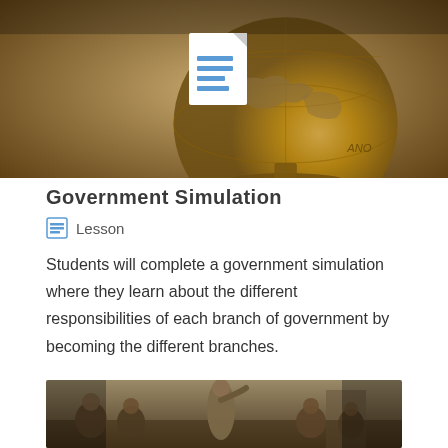[Figure (photo): A vintage globe on a stand with a document icon overlay, warm brown tones]
Government Simulation
Lesson
Students will complete a government simulation where they learn about the different responsibilities of each branch of government by becoming the different branches.
[Figure (photo): Historical painting of founding fathers, Washington-era figures in formal dress]